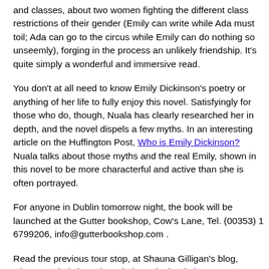and classes, about two women fighting the different class restrictions of their gender (Emily can write while Ada must toil; Ada can go to the circus while Emily can do nothing so unseemly), forging in the process an unlikely friendship. It's quite simply a wonderful and immersive read.
You don't at all need to know Emily Dickinson's poetry or anything of her life to fully enjoy this novel. Satisfyingly for those who do, though, Nuala has clearly researched her in depth, and the novel dispels a few myths. In an interesting article on the Huffington Post, Who is Emily Dickinson? Nuala talks about those myths and the real Emily, shown in this novel to be more characterful and active than she is often portrayed.
For anyone in Dublin tomorrow night, the book will be launched at the Gutter bookshop, Cow's Lane, Tel. (00353) 1 6799206, info@gutterbookshop.com .
Read the previous tour stop, at Shauna Gilligan's blog, where Nuala is interviewed about the book, here. You can follow the rest of the tour, and discover lots more details